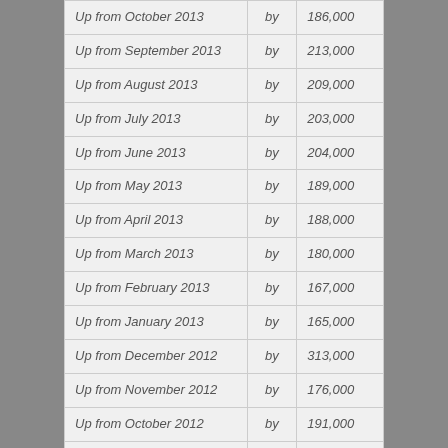| Up from October 2013 | by | 186,000 |
| Up from September 2013 | by | 213,000 |
| Up from August 2013 | by | 209,000 |
| Up from July 2013 | by | 203,000 |
| Up from June 2013 | by | 204,000 |
| Up from May 2013 | by | 189,000 |
| Up from April 2013 | by | 188,000 |
| Up from March 2013 | by | 180,000 |
| Up from February 2013 | by | 167,000 |
| Up from January 2013 | by | 165,000 |
| Up from December 2012 | by | 313,000 |
| Up from November 2012 | by | 176,000 |
| Up from October 2012 | by | 191,000 |
| Up from September 2012 | by | 211,000 |
| Up from August 2012 | by | 206,000 |